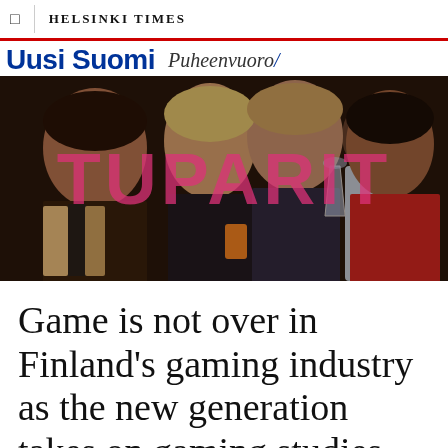HELSINKI TIMES
[Figure (logo): Uusi Suomi Puheenvuoro brand header with blue bold text and italic cursive]
[Figure (photo): Photo of four smiling women holding drinks at a social gathering, with large pink overlay text reading TUPARIT]
Game is not over in Finland's gaming industry as the new generation takes on gaming studies